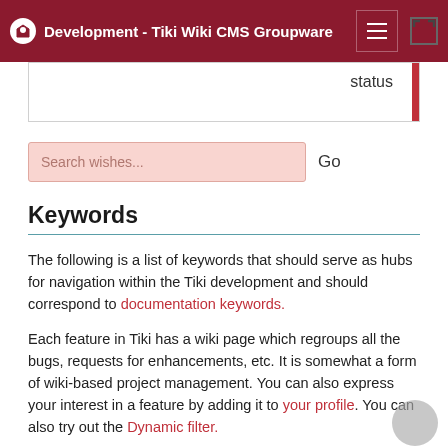Development - Tiki Wiki CMS Groupware
| status |
| --- |
|  |
Search wishes...  Go
Keywords
The following is a list of keywords that should serve as hubs for navigation within the Tiki development and should correspond to documentation keywords.
Each feature in Tiki has a wiki page which regroups all the bugs, requests for enhancements, etc. It is somewhat a form of wiki-based project management. You can also express your interest in a feature by adding it to your profile. You can also try out the Dynamic filter.